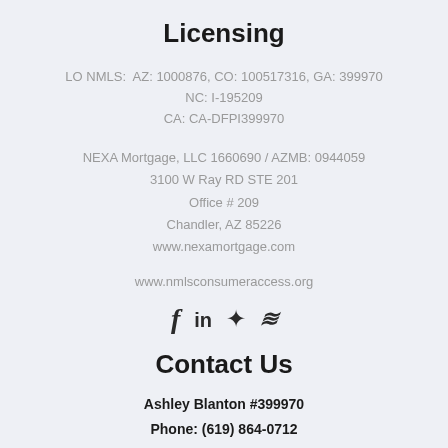Licensing
LO NMLS:  AZ: 1000876, CO: 100517316, GA: 399970
NC: I-195209
CA: CA-DFPI399970
NEXA Mortgage, LLC 1660690 / AZMB: 0944059
3100 W Ray RD STE 201
Office # 209
Chandler, AZ 85226
www.nexamortgage.com
www.nmlsconsumeraccess.org
[Figure (illustration): Social media icons: Facebook, LinkedIn, Yelp, Zillow]
Contact Us
Ashley Blanton #399970
Phone: (619) 864-0712